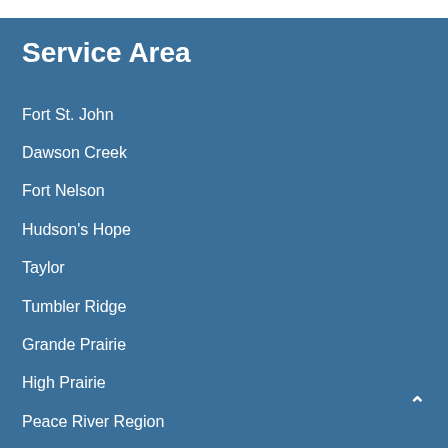Service Area
Fort St. John
Dawson Creek
Fort Nelson
Hudson's Hope
Taylor
Tumbler Ridge
Grande Prairie
High Prairie
Peace River Region
Yukon and Northwest Territories
North Peace Region
All of Alberta
All of British Columbia